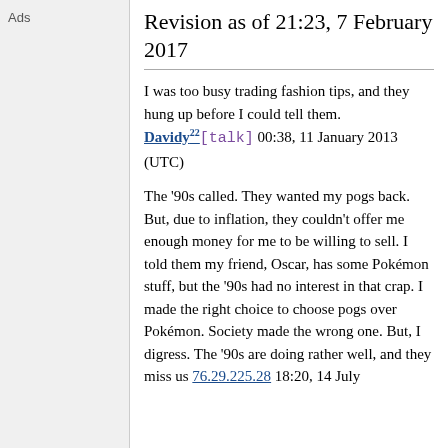Ads
Revision as of 21:23, 7 February 2017
I was too busy trading fashion tips, and they hung up before I could tell them. Davidy22[talk] 00:38, 11 January 2013 (UTC)
The '90s called. They wanted my pogs back. But, due to inflation, they couldn't offer me enough money for me to be willing to sell. I told them my friend, Oscar, has some Pokémon stuff, but the '90s had no interest in that crap. I made the right choice to choose pogs over Pokémon. Society made the wrong one. But, I digress. The '90s are doing rather well, and they miss us 76.29.225.28 18:20, 14 July